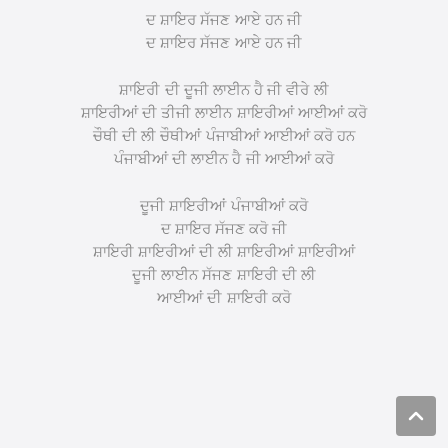ਦ ਸ਼ਾਇਰ ਸੱਜਣ ਆਏ ਹਨ ਜੀ
ਦ ਸ਼ਾਇਰ ਸੱਜਣ ਆਏ ਹਨ ਜੀ
ਸ਼ਾਇਰੀ ਦੀ ਦੂਜੀ ਲਾਈਨ ਹੈ ਜੀ ਵੀਰੇ ਲੀ
ਸ਼ਾਇਰੀਆਂ ਦੀ ਤੀਜੀ ਲਾਈਨ ਸ਼ਾਇਰੀਆਂ ਆਈਆਂ ਕਰੋ
ਚੌਥੀ ਦੀ ਲੀ ਚੌਥੀਆਂ ਪੰਜਾਬੀਆਂ ਆਈਆਂ ਕਰੋ ਹਨ
ਪੰਜਾਬੀਆਂ ਦੀ ਲਾਈਨ ਹੈ ਜੀ ਆਈਆਂ ਕਰੋ
ਦੂਜੀ ਸ਼ਾਇਰੀਆਂ ਪੰਜਾਬੀਆਂ ਕਰੋ
ਦ ਸ਼ਾਇਰ ਸੱਜਣ ਕਰੋ ਜੀ
ਸ਼ਾਇਰੀ ਸ਼ਾਇਰੀਆਂ ਦੀ ਲੀ ਸ਼ਾਇਰੀਆਂ ਸ਼ਾਇਰੀਆਂ
ਦੂਜੀ ਲਾਈਨ ਸੱਜਣ ਸ਼ਾਇਰੀ ਦੀ ਲੀ
ਆਈਆਂ ਦੀ ਸ਼ਾਇਰੀ ਕਰੋ